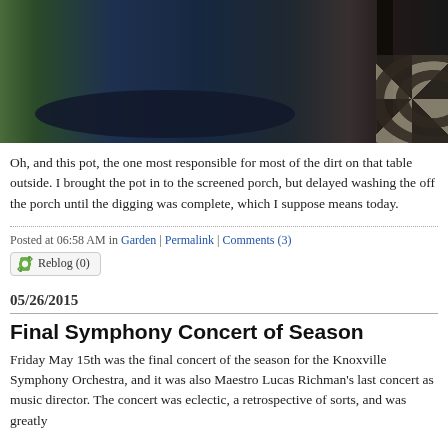[Figure (photo): A photo showing a dark blue/black round table top with a green textured item on the left side, a dark wooden table leg on the right, and a patterned rug with circular shapes visible at the bottom right.]
Oh, and this pot, the one most responsible for most of the dirt on that table outside.  I brought the pot in to the screened porch, but delayed washing the off the porch until the digging was complete, which I suppose means today.
Posted at 06:58 AM in Garden | Permalink | Comments (3)
Reblog (0)
05/26/2015
Final Symphony Concert of Season
Friday May 15th was the final concert of the season for the Knoxville Symphony Orchestra, and it was also Maestro Lucas Richman's last concert as music director.  The concert was eclectic, a retrospective of sorts, and was greatly